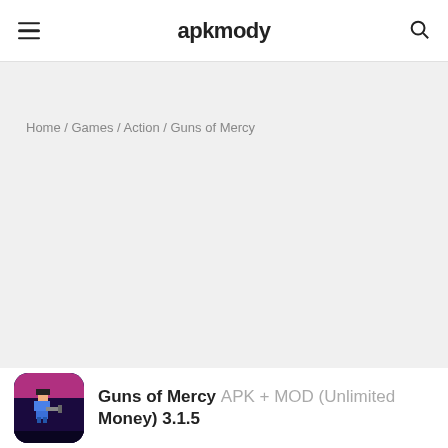apkmody
Home / Games / Action / Guns of Mercy
Guns of Mercy APK + MOD (Unlimited Money) 3.1.5